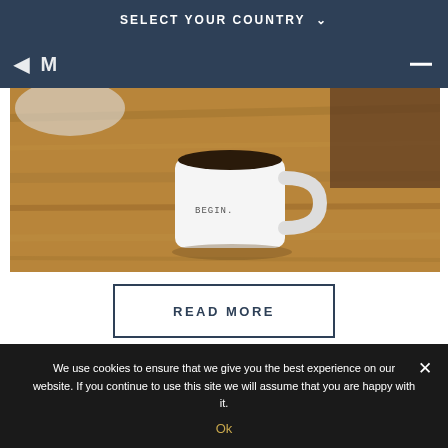SELECT YOUR COUNTRY ∨
[Figure (logo): Partial logo text 'LM' or similar on dark navy background with hamburger menu icon]
[Figure (photo): White ceramic coffee mug with text 'BEGIN.' on a wooden table, with blurred background]
READ MORE
GET IN TOUCH
We use cookies to ensure that we give you the best experience on our website. If you continue to use this site we will assume that you are happy with it.
Ok